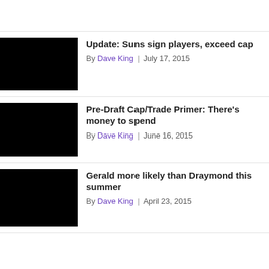Update: Suns sign players, exceed cap
By Dave King | July 17, 2015
Pre-Draft Cap/Trade Primer: There's money to spend
By Dave King | June 16, 2015
Gerald more likely than Draymond this summer
By Dave King | April 23, 2015